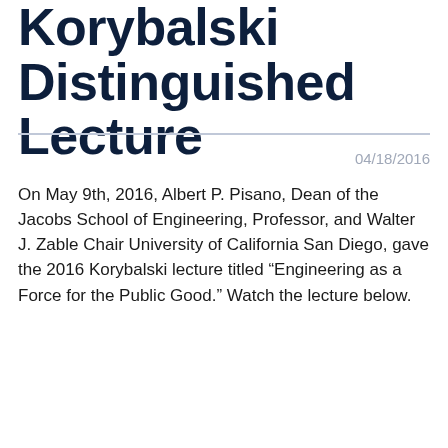Korybalski Distinguished Lecture
04/18/2016
On May 9th, 2016, Albert P. Pisano, Dean of the Jacobs School of Engineering, Professor, and Walter J. Zable Chair University of California San Diego, gave the 2016 Korybalski lecture titled “Engineering as a Force for the Public Good.” Watch the lecture below.